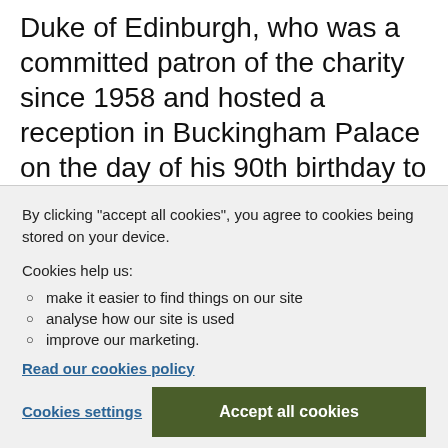Duke of Edinburgh, who was a committed patron of the charity since 1958 and hosted a reception in Buckingham Palace on the day of his 90th birthday to mark the organisation's centenary in 2011.
By clicking “accept all cookies”, you agree to cookies being stored on your device.
Cookies help us:
make it easier to find things on our site
analyse how our site is used
improve our marketing.
Read our cookies policy
Cookies settings
Accept all cookies